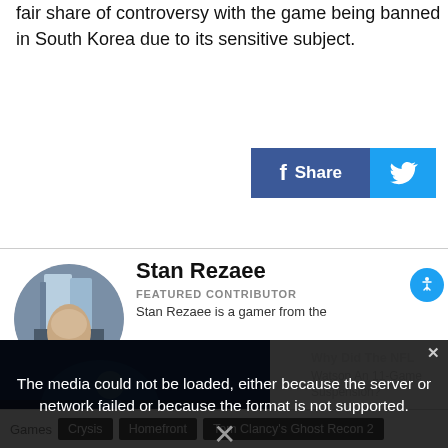fair share of controversy with the game being banned in South Korea due to its sensitive subject.
[Figure (screenshot): Facebook Share button (blue) and Twitter share button (light blue) side by side]
Stan Rezaee
FEATURED CONTRIBUTOR
Stan Rezaee is a gamer from the
[Figure (photo): Circular author avatar photo of Stan Rezaee showing a city building in background]
[Figure (screenshot): Video player error overlay: 'The media could not be loaded, either because the server or network failed or because the format is not supported.' with an X close icon. Background shows an NFL football player. Sidebar text: 'Why Did The NFL Watson An 11-Game Suspension?']
Games | Crysis | Homefront | Tom Clancy's Ghost Recon 2